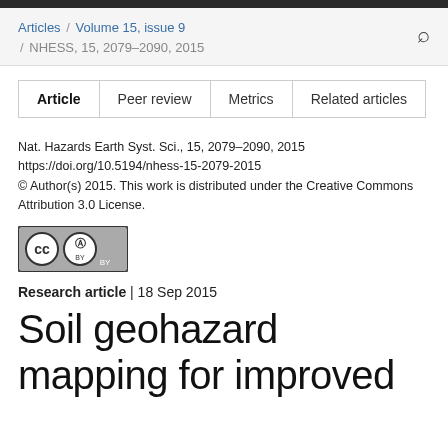Articles / Volume 15, issue 9 / NHESS, 15, 2079–2090, 2015
| Article | Peer review | Metrics | Related articles |
| --- | --- | --- | --- |
Nat. Hazards Earth Syst. Sci., 15, 2079–2090, 2015
https://doi.org/10.5194/nhess-15-2079-2015
© Author(s) 2015. This work is distributed under the Creative Commons Attribution 3.0 License.
[Figure (logo): Creative Commons Attribution (CC BY) license badge]
Research article | 18 Sep 2015
Soil geohazard mapping for improved